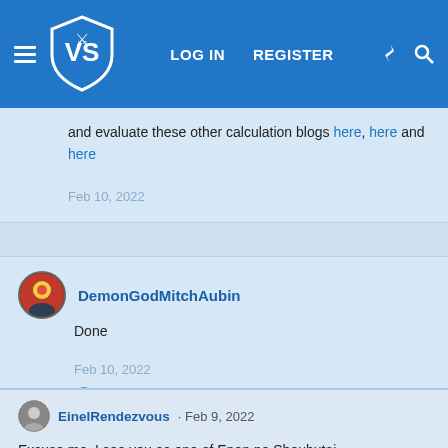VS — LOG IN  REGISTER
and evaluate these other calculation blogs here, here and here
Feb 10, 2022
DemonGodMitchAubin
Done
Feb 10, 2022
👍 KobsterHope07
EinelRendezvous · Feb 9, 2022
Excuse me, I see you as one of Enen no Shoubutai